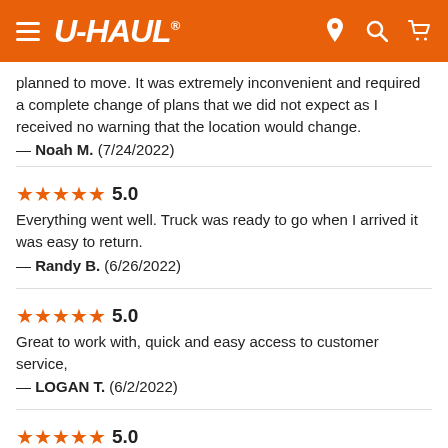U-HAUL
planned to move. It was extremely inconvenient and required a complete change of plans that we did not expect as I received no warning that the location would change.
— Noah M.  (7/24/2022)
★★★★★ 5.0
Everything went well. Truck was ready to go when I arrived it was easy to return.
— Randy B.  (6/26/2022)
★★★★★ 5.0
Great to work with, quick and easy access to customer service,
— LOGAN T.  (6/2/2022)
★★★★★ 5.0
The lady was super nice and very flexible! She was a true gem!
— P... C.  (5/6/2022)